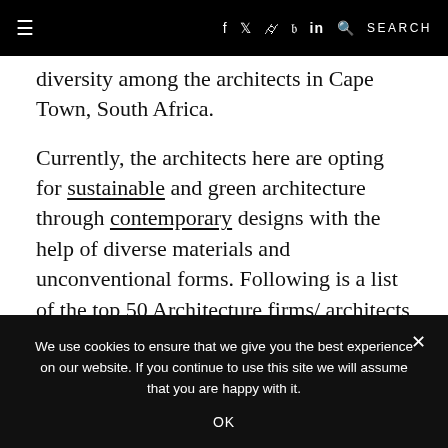≡  f  𝕏  ⊙  ℘  in  🔍 SEARCH
diversity among the architects in Cape Town, South Africa.
Currently, the architects here are opting for sustainable and green architecture through contemporary designs with the help of diverse materials and unconventional forms. Following is a list of the top 50 Architecture firms/ architects in Cape Town, arranged in alphabetical order-
We use cookies to ensure that we give you the best experience on our website. If you continue to use this site we will assume that you are happy with it.
OK